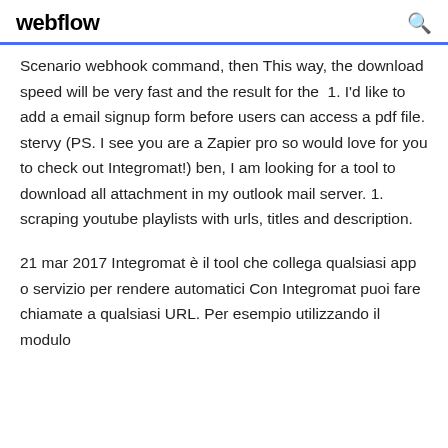webflow
Scenario webhook command, then This way, the download speed will be very fast and the result for the 1. I'd like to add a email signup form before users can access a pdf file. stervy (PS. I see you are a Zapier pro so would love for you to check out Integromat!) ben, I am looking for a tool to download all attachment in my outlook mail server. 1. scraping youtube playlists with urls, titles and description.
21 mar 2017 Integromat è il tool che collega qualsiasi app o servizio per rendere automatici Con Integromat puoi fare chiamate a qualsiasi URL. Per esempio utilizzando il modulo